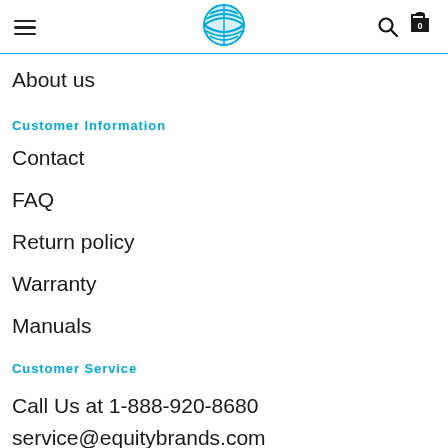[Figure (logo): AT&T globe logo with navigation hamburger menu, search icon, and shopping cart with 0 items]
About us
Customer Information
Contact
FAQ
Return policy
Warranty
Manuals
Customer Service
Call Us at 1-888-920-8680
service@equitybrands.com